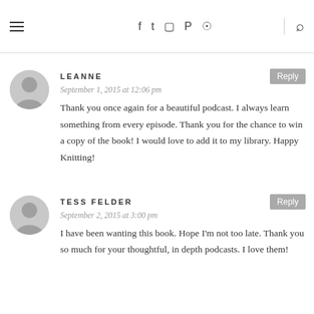≡  f  𝕥  📷  𝗣  ⌘  🔍
LEANNE
September 1, 2015 at 12:06 pm
Thank you once again for a beautiful podcast. I always learn something from every episode. Thank you for the chance to win a copy of the book! I would love to add it to my library. Happy Knitting!
TESS FELDER
September 2, 2015 at 3:00 pm
I have been wanting this book. Hope I'm not too late. Thank you so much for your thoughtful, in depth podcasts. I love them!